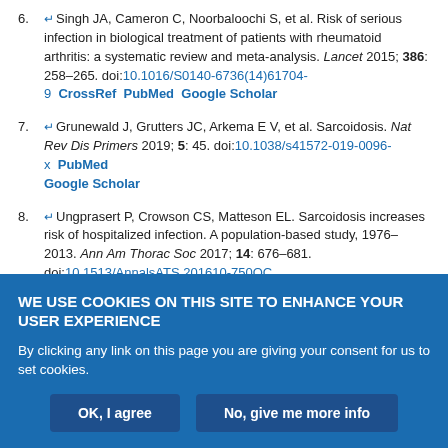6. Singh JA, Cameron C, Noorbaloochi S, et al. Risk of serious infection in biological treatment of patients with rheumatoid arthritis: a systematic review and meta-analysis. Lancet 2015; 386: 258–265. doi:10.1016/S0140-6736(14)61704-9 CrossRef PubMed Google Scholar
7. Grunewald J, Grutters JC, Arkema E V, et al. Sarcoidosis. Nat Rev Dis Primers 2019; 5: 45. doi:10.1038/s41572-019-0096-x PubMed Google Scholar
8. Ungprasert P, Crowson CS, Matteson EL. Sarcoidosis increases risk of hospitalized infection. A population-based study, 1976–2013. Ann Am Thorac Soc 2017; 14: 676–681. doi:10.1513/AnnalsATS.201610-750OC Google Scholar
WE USE COOKIES ON THIS SITE TO ENHANCE YOUR USER EXPERIENCE
By clicking any link on this page you are giving your consent for us to set cookies.